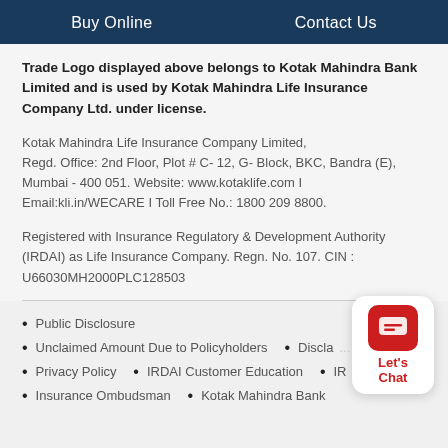Buy Online   Contact Us
Trade Logo displayed above belongs to Kotak Mahindra Bank Limited and is used by Kotak Mahindra Life Insurance Company Ltd. under license.
Kotak Mahindra Life Insurance Company Limited, Regd. Office: 2nd Floor, Plot # C- 12, G- Block, BKC, Bandra (E), Mumbai - 400 051. Website: www.kotaklife.com I Email:kli.in/WECARE I Toll Free No.: 1800 209 8800.
Registered with Insurance Regulatory & Development Authority (IRDAI) as Life Insurance Company. Regn. No. 107. CIN : U66030MH2000PLC128503
Public Disclosure
Unclaimed Amount Due to Policyholders   • Discla...
Privacy Policy   • IRDAI Customer Education   • IRDAI...
Insurance Ombudsman   • Kotak Mahindra Bank